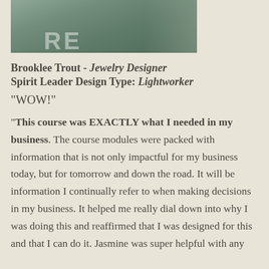[Figure (photo): Partial photo of Brooklee Trout, cropped showing upper body in a teal/green shirt with tattoo visible, photo cut off at bottom]
Brooklee Trout - Jewelry Designer
Spirit Leader Design Type: Lightworker
“WOW!”
“This course was EXACTLY what I needed in my business. The course modules were packed with information that is not only impactful for my business today, but for tomorrow and down the road. It will be information I continually refer to when making decisions in my business. It helped me really dial down into why I was doing this and reaffirmed that I was designed for this and that I can do it. Jasmine was super helpful with any